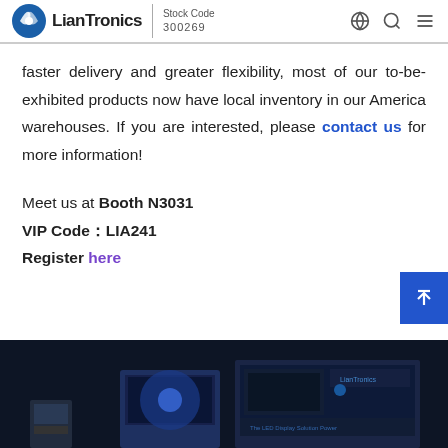LianTronics Stock Code 300269
faster delivery and greater flexibility, most of our to-be-exhibited products now have local inventory in our America warehouses. If you are interested, please contact us for more information!
Meet us at Booth N3031
VIP Code：LIA241
Register here
[Figure (photo): Product boxes/packaging for LianTronics LED display products shown at bottom of page]